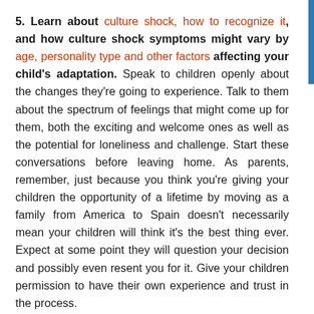5. Learn about culture shock, how to recognize it, and how culture shock symptoms might vary by age, personality type and other factors affecting your child's adaptation. Speak to children openly about the changes they're going to experience. Talk to them about the spectrum of feelings that might come up for them, both the exciting and welcome ones as well as the potential for loneliness and challenge. Start these conversations before leaving home. As parents, remember, just because you think you're giving your children the opportunity of a lifetime by moving as a family from America to Spain doesn't necessarily mean your children will think it's the best thing ever. Expect at some point they will question your decision and possibly even resent you for it. Give your children permission to have their own experience and trust in the process.